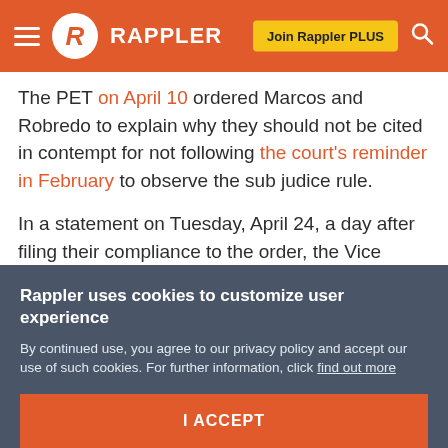RAPPLER
The PET on April 10 ordered Marcos and Robredo to explain why they should not be cited in contempt for not following the court's reminder in February to observe the sub judice rule.
In a statement on Tuesday, April 24, a day after filing their compliance to the order, the Vice President's camp "expressed sincere regret" to PET, and said they were "constrained to answer the frivolous media pronouncements" made by Marcos and his spokesperson, lawyer Vic Rodriguez.
Rappler uses cookies to customize user experience
By continued use, you agree to our privacy policy and accept our use of such cookies. For further information, click find out more
I ACCEPT